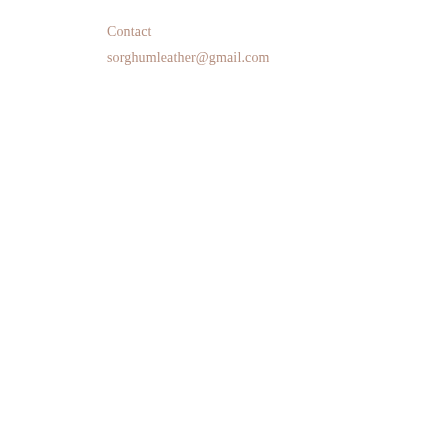Contact
sorghumleather@gmail.com